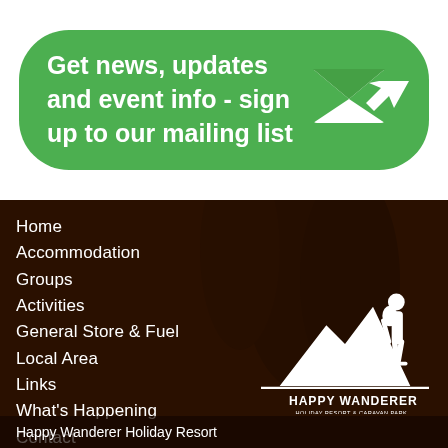Get news, updates and event info - sign up to our mailing list
[Figure (logo): Email icon with envelope and cursor arrow in white on green background]
Home
Accommodation
Groups
Activities
General Store & Fuel
Local Area
Links
What's Happening
Contact
[Figure (logo): Happy Wanderer Holiday Resort & Caravan Park logo with white silhouette of hiker and mountain landscape]
Happy Wanderer Holiday Resort